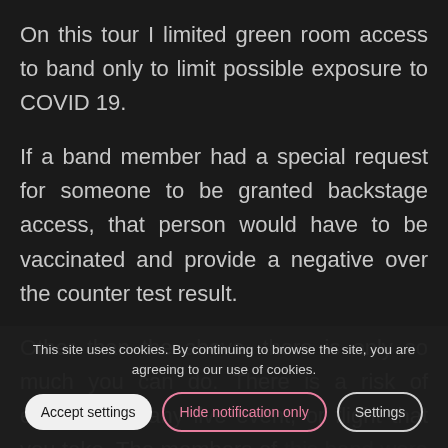On this tour I limited green room access to band only to limit possible exposure to COVID 19.

If a band member had a special request for someone to be granted backstage access, that person would have to be vaccinated and provide a negative over the counter test result.

Other than the above, there is only so much you can do. There is a risk of exposure at any live event, or flight that you take. The members of this band were ok with that risk, and many had already contracted COVID earlier in the year.

T... questions.
This site uses cookies. By continuing to browse the site, you are agreeing to our use of cookies.
Accept settings | Hide notification only | Settings